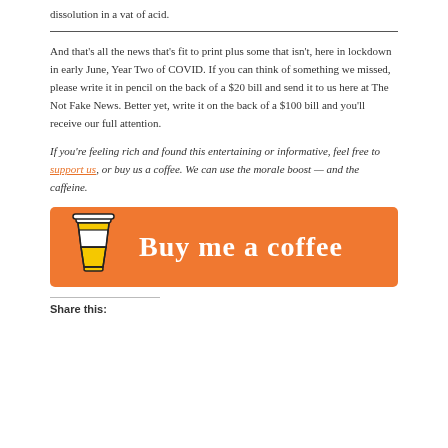dissolution in a vat of acid.
And that’s all the news that’s fit to print plus some that isn’t, here in lockdown in early June, Year Two of COVID. If you can think of something we missed, please write it in pencil on the back of a $20 bill and send it to us here at The Not Fake News. Better yet, write it on the back of a $100 bill and you’ll receive our full attention.
If you’re feeling rich and found this entertaining or informative, feel free to support us, or buy us a coffee. We can use the morale boost — and the caffeine.
[Figure (other): Orange Buy Me a Coffee banner with coffee cup icon and white cursive text reading 'Buy me a coffee']
Share this: